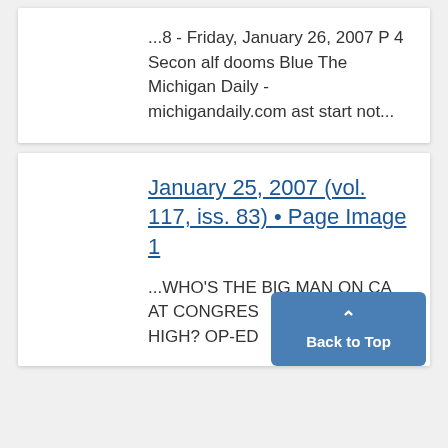...8 - Friday, January 26, 2007 P 4 Second half dooms Blue The Michigan Daily - michigandaily.com ast start not...
January 25, 2007 (vol. 117, iss. 83) • Page Image 1
...WHO'S THE BIG MAN ON CAMPUS AT CONGRESS HIGH? OP-ED...